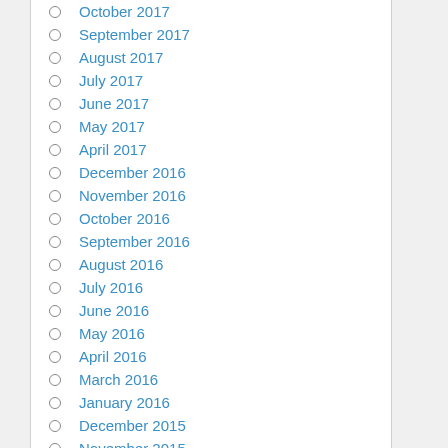October 2017
September 2017
August 2017
July 2017
June 2017
May 2017
April 2017
December 2016
November 2016
October 2016
September 2016
August 2016
July 2016
June 2016
May 2016
April 2016
March 2016
January 2016
December 2015
November 2015